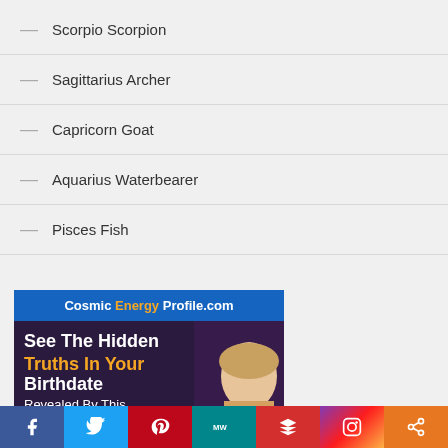— Scorpio Scorpion
— Sagittarius Archer
— Capricorn Goat
— Aquarius Waterbearer
— Pisces Fish
[Figure (infographic): Cosmic Energy Profile .com advertisement showing a blonde woman with text 'See The Hidden Truths In Your Birthdate Revealed By This']
Social sharing bar: Facebook, Twitter, Pinterest, MeWe, Flipboard, Instagram, Share